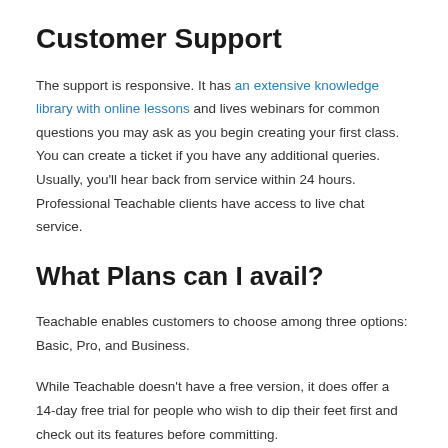Customer Support
The support is responsive. It has an extensive knowledge library with online lessons and lives webinars for common questions you may ask as you begin creating your first class. You can create a ticket if you have any additional queries. Usually, you'll hear back from service within 24 hours. Professional Teachable clients have access to live chat service.
What Plans can I avail?
Teachable enables customers to choose among three options: Basic, Pro, and Business.
While Teachable doesn't have a free version, it does offer a 14-day free trial for people who wish to dip their feet first and check out its features before committing.